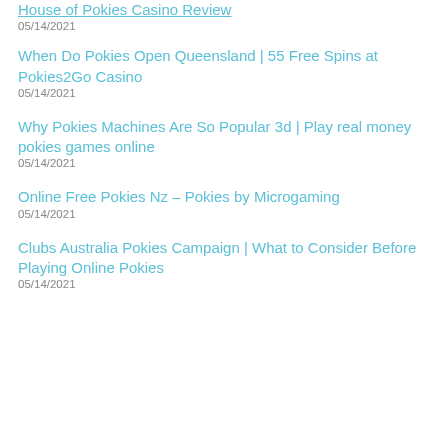House of Pokies Casino Review
05/14/2021
When Do Pokies Open Queensland | 55 Free Spins at Pokies2Go Casino
05/14/2021
Why Pokies Machines Are So Popular 3d | Play real money pokies games online
05/14/2021
Online Free Pokies Nz – Pokies by Microgaming
05/14/2021
Clubs Australia Pokies Campaign | What to Consider Before Playing Online Pokies
05/14/2021